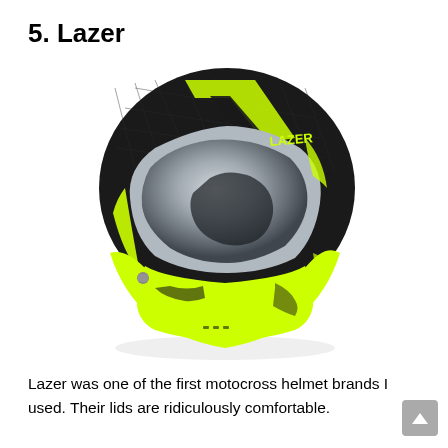5. Lazer
[Figure (photo): A Lazer motorcycle helmet in black carbon fiber with neon yellow accents and a mirrored visor, displaying the LAZER logo on the side.]
Lazer was one of the first motocross helmet brands I used. Their lids are ridiculously comfortable.